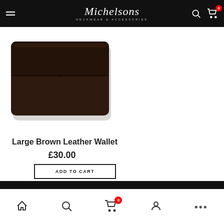Michelsons Neckwear & Accessories
[Figure (photo): Dark brown leather wallet/clutch bag shown on white background, rectangular shape with envelope-style flap]
Large Brown Leather Wallet
£30.00
ADD TO CART
Bottom navigation bar with home, search, cart (0), account, and more icons